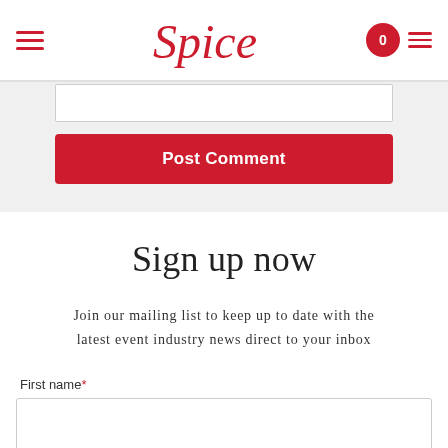Spice
[Figure (screenshot): Post Comment button (red) on a light gray comment form area]
Sign up now
Join our mailing list to keep up to date with the latest event industry news direct to your inbox
First name*